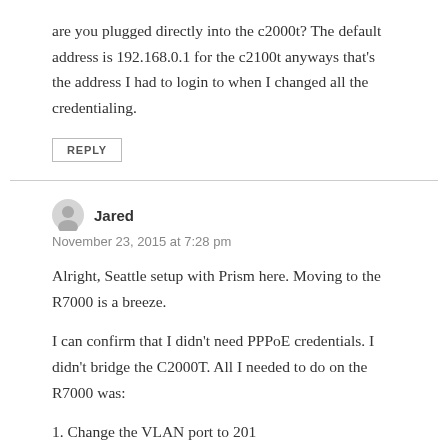are you plugged directly into the c2000t? The default address is 192.168.0.1 for the c2100t anyways that’s the address I had to login to when I changed all the credentialing.
REPLY
Jared
November 23, 2015 at 7:28 pm
Alright, Seattle setup with Prism here. Moving to the R7000 is a breeze.
I can confirm that I didn’t need PPPoE credentials. I didn’t bridge the C2000T. All I needed to do on the R7000 was:
1. Change the VLAN port to 201